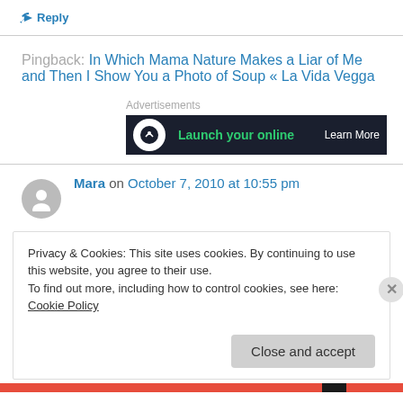↳ Reply
Pingback: In Which Mama Nature Makes a Liar of Me and Then I Show You a Photo of Soup « La Vida Vegga
[Figure (screenshot): Dark advertisement banner showing 'Launch your online' with circular logo and 'Learn More' text]
Mara on October 7, 2010 at 10:55 pm
Privacy & Cookies: This site uses cookies. By continuing to use this website, you agree to their use. To find out more, including how to control cookies, see here: Cookie Policy
Close and accept